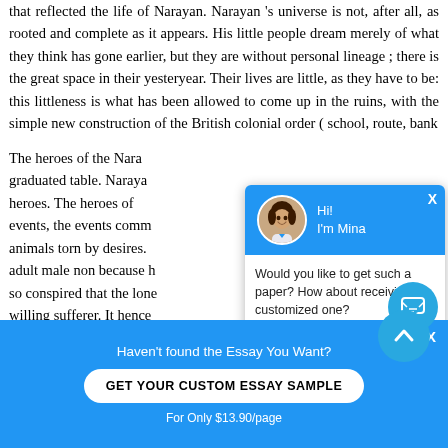that reflected the life of Narayan. Narayan's universe is not, after all, as rooted and complete as it appears. His little people dream merely of what they think has gone earlier, but they are without personal lineage ; there is the great space in their yesteryear. Their lives are little, as they have to be: this littleness is what has been allowed to come up in the ruins, with the simple new construction of the British colonial order ( school, route, bank...
The heroes of the Nara... graduated table. Naraya... heroes. The heroes of... events, the events comm... animals torn by desires... adult male non because h... so conspired that the lone... willing sufferer. It hence... heroines of Narayan depo... upon... opportunity... for their felicity or sadness ; and if things go contra...
[Figure (other): Chat popup with avatar of a smiling woman, header reading Hi! I'm Mina, body text: Would you like to get such a paper? How about receiving a customized one? Check it out (underlined link). Blue header, white body, close X button.]
[Figure (other): Blue circular scroll-up button with upward chevron icon]
[Figure (other): Blue circular message/chat button with speech bubble icon]
Haven't found the Essay You Want?
GET YOUR CUSTOM ESSAY SAMPLE
For Only $13.90/page